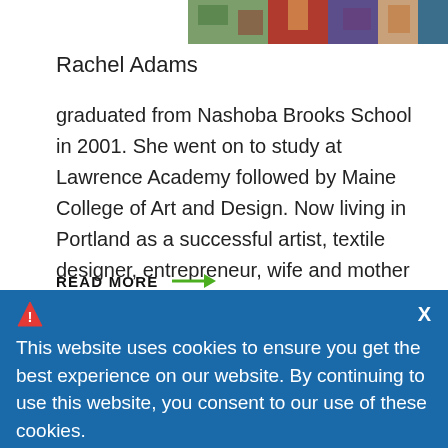[Figure (photo): Colorful textile/fabric image at top right of page]
Rachel Adams
graduated from Nashoba Brooks School in 2001. She went on to study at Lawrence Academy followed by Maine College of Art and Design. Now living in Portland as a successful artist, textile designer, entrepreneur, wife and mother of two, Rachel shares her journey from student to full time artist.
READ MORE →
This website uses cookies to ensure you get the best experience on our website. By continuing to use this website, you consent to our use of these cookies.